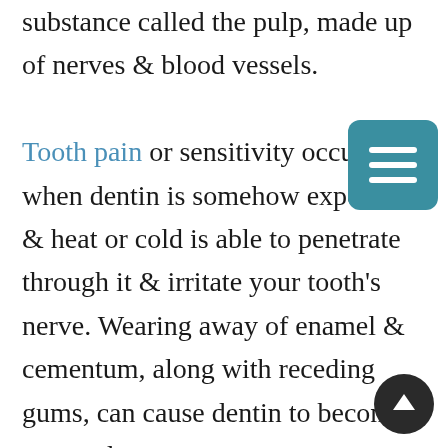substance called the pulp, made up of nerves & blood vessels. Tooth pain or sensitivity occurs when dentin is somehow exposed & heat or cold is able to penetrate through it & irritate your tooth's nerve. Wearing away of enamel & cementum, along with receding gums, can cause dentin to become exposed. You can wear away enamel a few